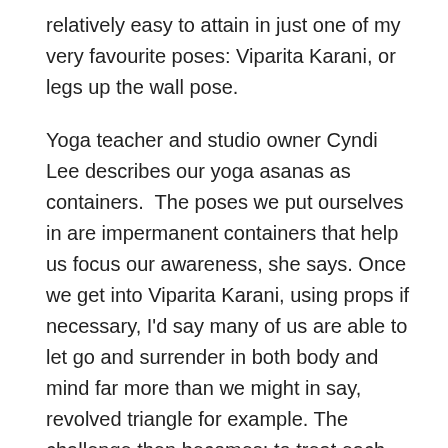relatively easy to attain in just one of my very favourite poses: Viparita Karani, or legs up the wall pose.
Yoga teacher and studio owner Cyndi Lee describes our yoga asanas as containers. The poses we put ourselves in are impermanent containers that help us focus our awareness, she says. Once we get into Viparita Karani, using props if necessary, I'd say many of us are able to let go and surrender in both body and mind far more than we might in say, revolved triangle for example. The challenge then becomes: to treat each pose we are working in as if it were legs up the wall. To surrender in and learn to find contentment from each